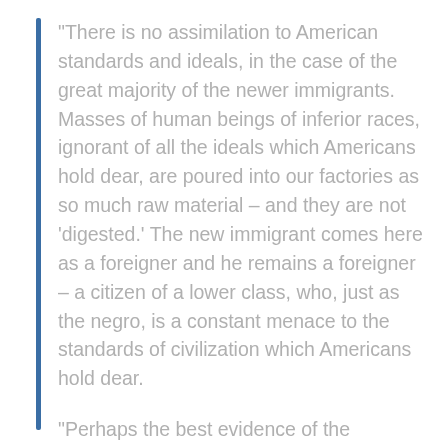“There is no assimilation to American standards and ideals, in the case of the great majority of the newer immigrants. Masses of human beings of inferior races, ignorant of all the ideals which Americans hold dear, are poured into our factories as so much raw material – and they are not ‘digested.’ The new immigrant comes here as a foreigner and he remains a foreigner – a citizen of a lower class, who, just as the negro, is a constant menace to the standards of civilization which Americans hold dear.
“Perhaps the best evidence of the